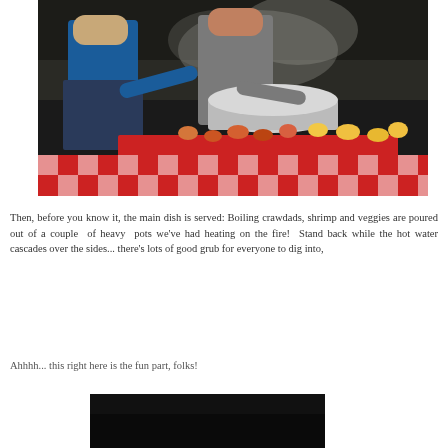[Figure (photo): Two people leaning over a large outdoor cooking surface/grill filled with crawdads, shrimp, corn, and potatoes. Steam rises from the food. The table is covered with a red and white checkered tablecloth. One person wears a blue shirt and overalls, the other a gray shirt.]
Then, before you know it, the main dish is served: Boiling crawdads, shrimp and veggies are poured out of a couple of heavy pots we've had heating on the fire!  Stand back while the hot water cascades over the sides... there's lots of good grub for everyone to dig into,
Ahhhh... this right here is the fun part, folks!
[Figure (photo): Bottom portion of a dark photo, partially visible at the bottom of the page.]